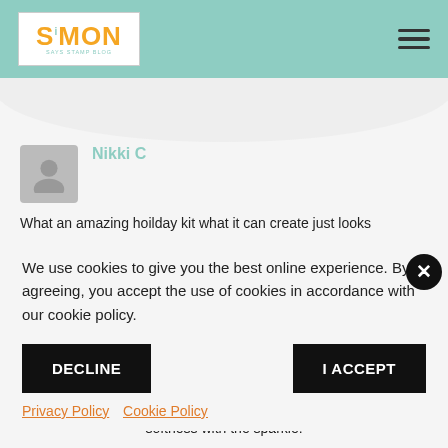Simon Says Stamp Blog
Nikki C
What an amazing hoilday kit what it can create just looks fantastic!!!! thanks for sharing it with
We use cookies to give you the best online experience. By agreeing, you accept the use of cookies in accordance with our cookie policy.
DECLINE
I ACCEPT
Privacy Policy  Cookie Policy
softness with the sparkle!